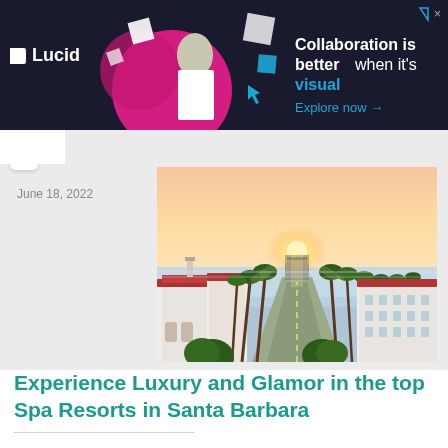[Figure (screenshot): Lucid advertisement banner with dark navy background. Shows Lucid logo on left, woman with digital shapes graphic in center, and text 'Collaboration is better when it's visual — Explore now →' on right.]
June 18, 2022
[Figure (photo): Aerial photo of Santa Barbara coastline at sunset showing Spanish colonial white buildings with red tile roofs, palm-tree-lined boulevard leading to ocean pier, warm golden sunset light over Pacific Ocean.]
Experience Luxury and Glamor in the top Spa Resorts in Santa Barbara